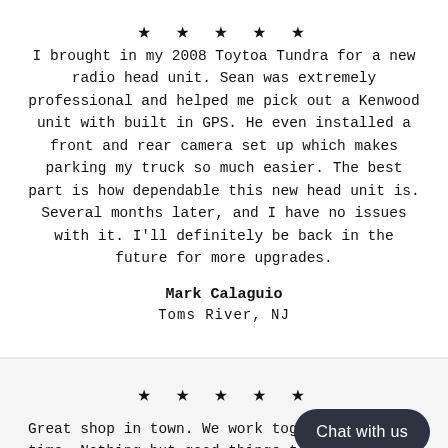[Figure (other): Five black stars rating]
I brought in my 2008 Toytoa Tundra for a new radio head unit. Sean was extremely professional and helped me pick out a Kenwood unit with built in GPS. He even installed a front and rear camera set up which makes parking my truck so much easier. The best part is how dependable this new head unit is. Several months later, and I have no issues with it. I'll definitely be back in the future for more upgrades.
Mark Calaguio
Toms River, NJ
[Figure (other): Five black stars rating]
Great shop in town. We work together all the time. Nothing but good things to say about Sean and his